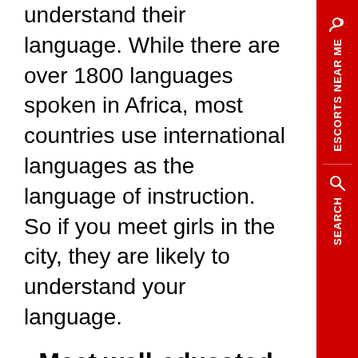understand their language. While there are over 1800 languages spoken in Africa, most countries use international languages as the language of instruction. So if you meet girls in the city, they are likely to understand your language.
Meet well-educated call girls on Exotic Africa
All Exotic Africa escorts are licensed English speakers...